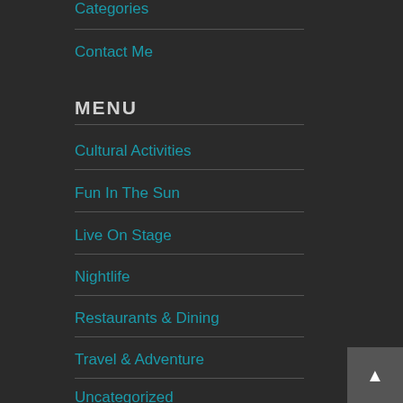Categories
Contact Me
MENU
Cultural Activities
Fun In The Sun
Live On Stage
Nightlife
Restaurants & Dining
Travel & Adventure
Uncategorized